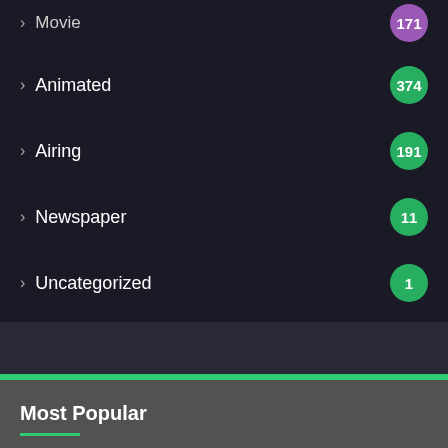Animated 374
Airing 191
Newspaper 11
Uncategorized 1
Most Popular
13 hours ago
One Piece
May 9, 2020
Naruto – Shippuden